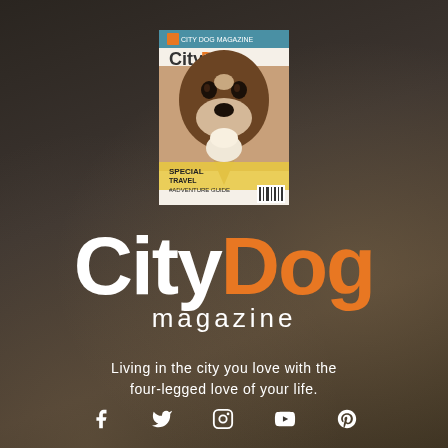[Figure (photo): Dark blurry background showing a magazine and what appears to be a dog on a surface, serving as the page background]
[Figure (photo): CityDog magazine cover showing a boxer dog holding an ice cream cone, with text 'Special Travel + Adventure Guide']
CityDog magazine
Living in the city you love with the four-legged love of your life.
[Figure (infographic): Social media icons row: Facebook, Twitter, Instagram, YouTube, Pinterest]